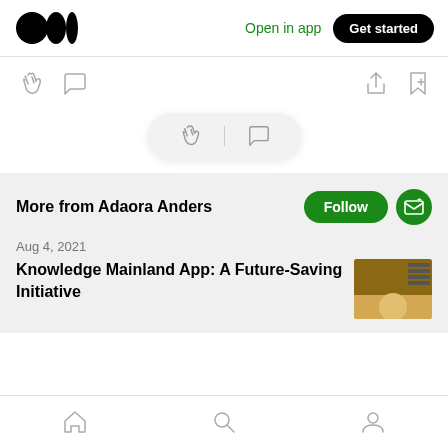Medium logo | Open in app | Get started
[Figure (screenshot): Medium app interface showing clap and comment icons, a floating pill action bar, a 'More from Adaora Anders' section with Follow and subscribe buttons, and an article preview 'Knowledge Mainland App: A Future-Saving Initiative' dated Aug 4, 2021, with bottom navigation bar]
Open in app
Get started
More from Adaora Anders
Aug 4, 2021
Knowledge Mainland App: A Future-Saving Initiative
Home | Search | Profile